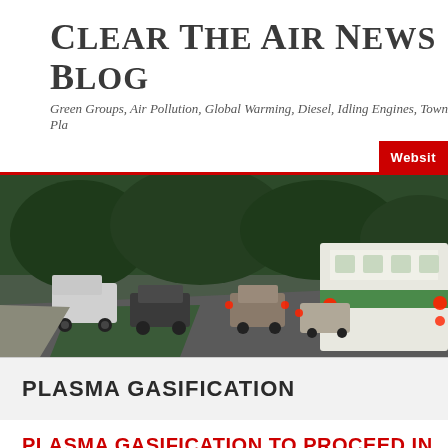Clear The Air News Blog
Green Groups, Air Pollution, Global Warming, Diesel, Idling Engines, Town Pla
Websit
[Figure (photo): Traffic scene with cars and a bus on a tree-lined road, taken at dusk or overcast conditions. Vehicles have red brake lights visible.]
PLASMA GASIFICATION
PLASMA GASIFICATION TO PROCEED IN ZHUHAI / FOS